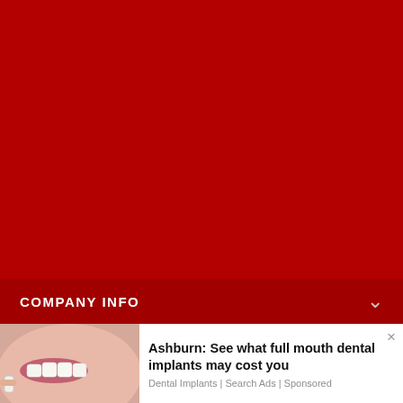[Figure (photo): Large dark red background filling most of the page, likely a website or app screenshot with a dark red brand color background]
COMPANY INFO
[Figure (screenshot): Ad banner overlay at the bottom of the page showing a smiling person holding a dental implant/tooth veneer, with text 'Ashburn: See what full mouth dental implants may cost you' and source 'Dental Implants | Search Ads | Sponsored']
Ashburn: See what full mouth dental implants may cost you
Dental Implants | Search Ads | Sponsored